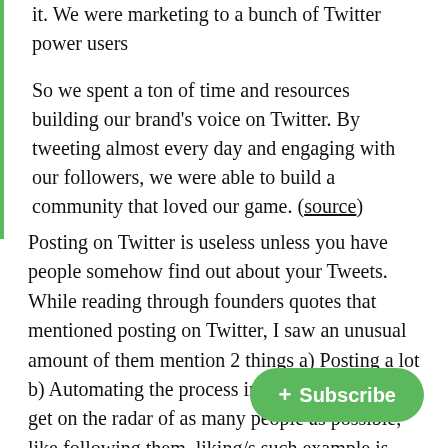it. We were marketing to a bunch of Twitter power users
So we spent a ton of time and resources building our brand's voice on Twitter. By tweeting almost every day and engaging with our followers, we were able to build a community that loved our game. (source)
Posting on Twitter is useless unless you have people somehow find out about your Tweets. While reading through founders quotes that mentioned posting on Twitter, I saw an unusual amount of them mention 2 things a) Posting a lot b) Automating the process in some way (so they get on the radar of as many people as possible, like following them, liking/s such example is Stock Alarm ($3k/m alerts you when the price of a stock (in the stock market)